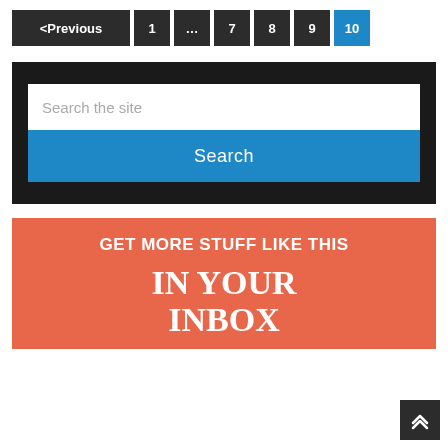[Figure (screenshot): Pagination bar with buttons: <Previous, 1, ..., 7, 8, 9, 10 (active/blue)]
[Figure (screenshot): Search widget on dark background with text input 'Search the site' and a blue Search button]
[Figure (screenshot): Orange CTA banner with text 'GET MORE STUFF LIKE THIS' and 'IN YOUR INBOX']
[Figure (screenshot): Dark back-to-top button with double chevron up arrow in bottom-right corner]